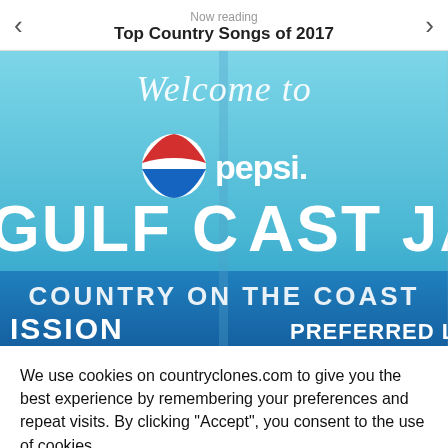Now reading
Top Country Songs of 2017
[Figure (photo): A banner sign reading 'Welcome to Pepsi Gulf Coast Jam - Country on the Coast' with partial text 'ISSION' and 'PREFERRED LOD' visible at the bottom. The banner has a blue and teal background with white text and the Pepsi logo.]
We use cookies on countryclones.com to give you the best experience by remembering your preferences and repeat visits. By clicking "Accept", you consent to the use of cookies.
Cookie settings   ACCEPT